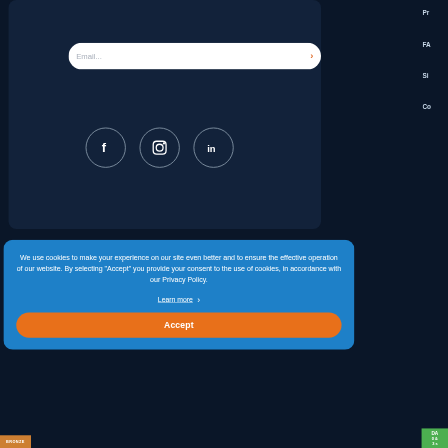Subscribe for newsletter
[Figure (screenshot): Email subscription input field with placeholder 'Email...' and an orange arrow button on the right]
[Figure (infographic): Three circular social media icons: Facebook (f), Instagram (camera), LinkedIn (in)]
We use cookies to make your experience on our site even better and to ensure the effective operation of our website. By selecting "Accept" you provide your consent to the use of cookies, in accordance with our Privacy Policy.
Learn more >
Accept